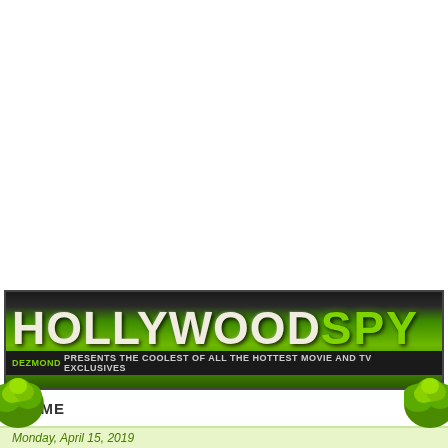[Figure (logo): Hollywood Spy website banner logo. Dark-to-green gradient background. Large stylized text: HOLLYWOOD in stone/cream color, SPY in bright green. Subtitle bar: DEZMOND PRESENTS THE COOLEST OF ALL THE HOTTEST MOVIE AND TV EXCLUSIVES]
HOME ▼
Monday, April 15, 2019